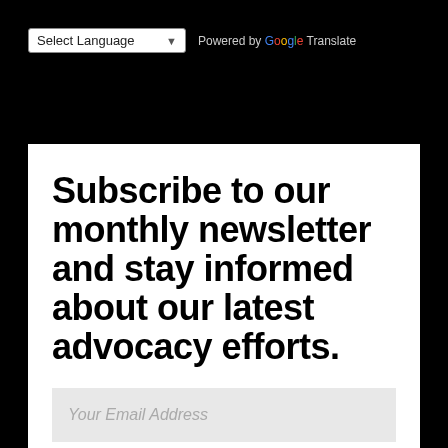[Figure (screenshot): Google Translate language selector widget with 'Select Language' dropdown and 'Powered by Google Translate' label]
Subscribe to our monthly newsletter and stay informed about our latest advocacy efforts.
Your Email Address
SIGN UP →